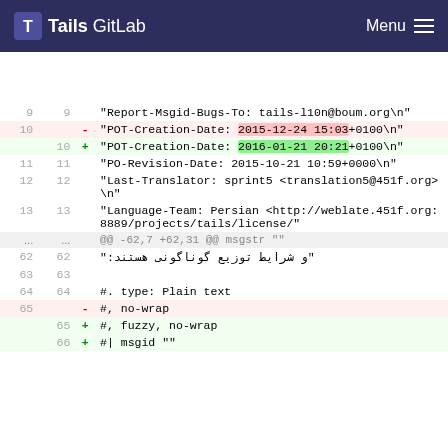Tails GitLab  Menu
| old | new |  | code |
| --- | --- | --- | --- |
| 9 | 9 |  | "Report-Msgid-Bugs-To: tails-l10n@boum.org\n" |
| 10 |  | - | "POT-Creation-Date: 2015-12-24 15:03+0100\n" |
|  | 10 | + | "POT-Creation-Date: 2016-01-21 20:21+0100\n" |
| 11 | 11 |  | "PO-Revision-Date: 2015-10-21 10:59+0000\n" |
| 12 | 12 |  | "Last-Translator: sprint5 <translation5@451f.org>\n" |
| 13 | 13 |  | "Language-Team: Persian <http://weblate.451f.org:8889/projects/tails/license/" |
| ... | ... |  | @@ -62,7 +62,31 @@ msgstr "" |
| 62 | 62 |  | ":و شرایط توزیع گوناگونی هستند" |
| 63 | 63 |  |  |
| 64 | 64 |  | #. type: Plain text |
| 65 |  | - | #, no-wrap |
|  | 65 | + | #, fuzzy, no-wrap |
|  | 66 | + | #| msgid "" |